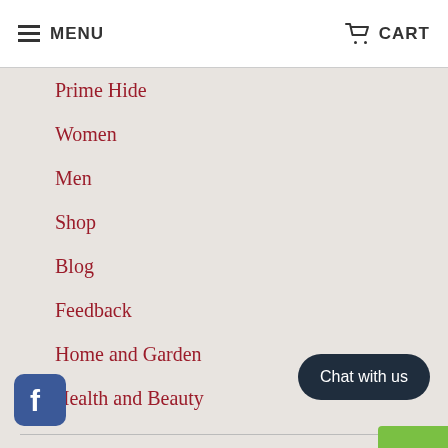MENU  CART
Prime Hide
Women
Men
Shop
Blog
Feedback
Home and Garden
Health and Beauty
CONTACT US
Baked Apple West Midlands Ltd
30 Hallchurch Road
Dudley